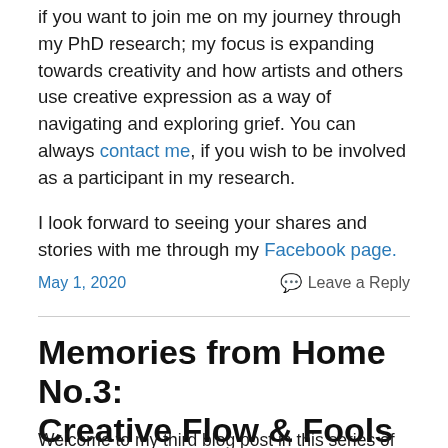if you want to join me on my journey through my PhD research; my focus is expanding towards creativity and how artists and others use creative expression as a way of navigating and exploring grief. You can always contact me, if you wish to be involved as a participant in my research.
I look forward to seeing your shares and stories with me through my Facebook page.
May 1, 2020
Leave a Reply
Memories from Home No.3: Creative Flow & Fools
Welcome to my third blog post in this series of 'Memories